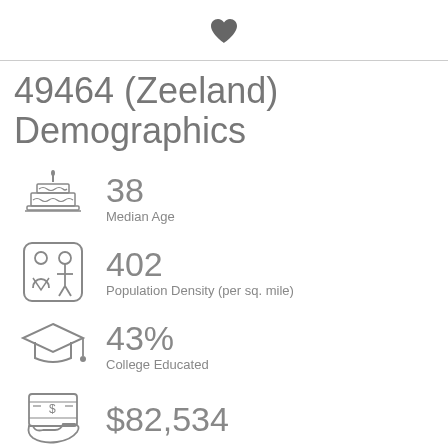[Figure (icon): Heart icon centered at top]
49464 (Zeeland) Demographics
38
Median Age
402
Population Density (per sq. mile)
43%
College Educated
$82,534